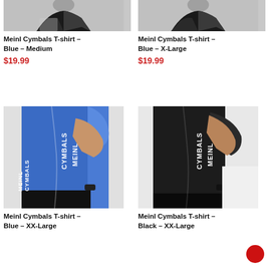[Figure (photo): Person wearing Meinl Cymbals T-shirt Blue Medium, partial torso view from above]
Meinl Cymbals T-shirt - Blue - Medium
$19.99
[Figure (photo): Person wearing Meinl Cymbals T-shirt Blue X-Large, partial torso view from above]
Meinl Cymbals T-shirt - Blue - X-Large
$19.99
[Figure (photo): Person wearing Meinl Cymbals T-shirt Blue XX-Large, side view showing MEINL CYMBALS text on shirt]
Meinl Cymbals T-shirt - Blue - XX-Large
[Figure (photo): Person wearing Meinl Cymbals T-shirt Black XX-Large, side view showing MEINL CYMBALS text on shirt]
Meinl Cymbals T-shirt - Black - XX-Large